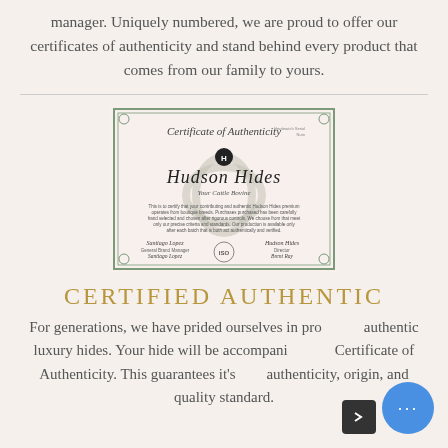manager. Uniquely numbered, we are proud to offer our certificates of authenticity and stand behind every product that comes from our family to yours.
[Figure (illustration): Certificate of Authenticity from Hudson Hides, with ornate border, logo, signatures from Santiago Lopez and Hudson Hides, and ISO seal]
CERTIFIED AUTHENTIC
For generations, we have prided ourselves in providing authentic luxury hides. Your hide will be accompanied by a Certificate of Authenticity. This guarantees it's authenticity, origin, and quality standard.